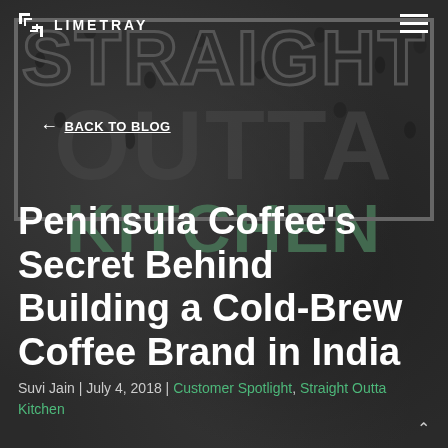LIMETRAY
[Figure (screenshot): Limetray logo icon — stylized chain-link or bracket symbol in white]
← BACK TO BLOG
[Figure (illustration): Background dark image with text watermark reading STRAIGHT OUTTA KITCHEN in large gray/green letters, with a rectangular border outline, overlaid on a dark coffee-bean textured background]
Peninsula Coffee's Secret Behind Building a Cold-Brew Coffee Brand in India
Suvi Jain | July 4, 2018 | Customer Spotlight, Straight Outta Kitchen